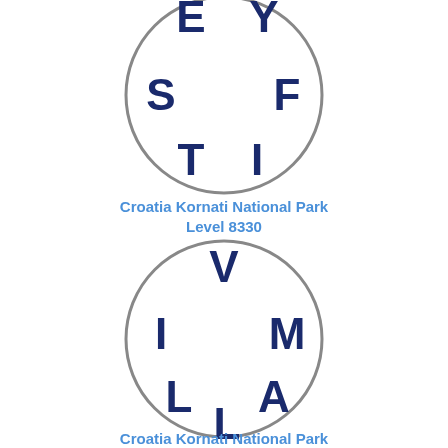[Figure (illustration): Circle puzzle with letters E, Y, S, F, T, I arranged around the inside of a circle]
Croatia Kornati National Park
Level 8330
[Figure (illustration): Circle puzzle with letters V, I, M, L, A, L arranged around the inside of a circle]
Croatia Kornati National Park
Level 8331
[Figure (illustration): Circle puzzle with letters W, I, S (partially visible) arranged around the inside of a circle]